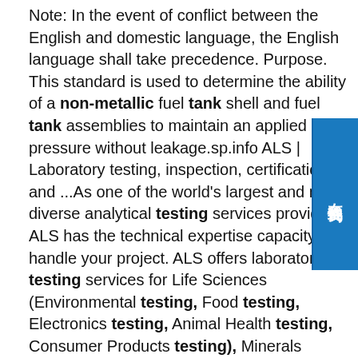Note: In the event of conflict between the English and domestic language, the English language shall take precedence. Purpose. This standard is used to determine the ability of a non-metallic fuel tank shell and fuel tank assemblies to maintain an applied pressure without leakage.sp.info ALS | Laboratory testing, inspection, certification and ...As one of the world's largest and most diverse analytical testing services providers, ALS has the technical expertise capacity to handle your project. ALS offers laboratory testing services for Life Sciences (Environmental testing, Food testing, Electronics testing, Animal Health testing, Consumer Products testing), Minerals (Geochemistry testing, Metallurgy testing, Mine Site testing ...sp.info Pump technology solving chemical transfer problems ...At this point – while acknowledging that seal-less pumps have essentially cured the chemical-leak conundrum – let's delve deeper into the causes and effects of the common pump paint points and highlight how centrifugal pumps and internal gear pumps have risen as